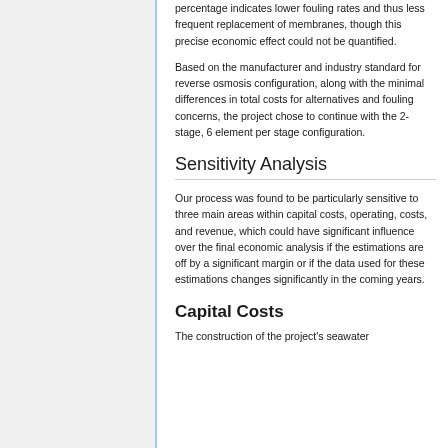percentage indicates lower fouling rates and thus less frequent replacement of membranes, though this precise economic effect could not be quantified.
Based on the manufacturer and industry standard for reverse osmosis configuration, along with the minimal differences in total costs for alternatives and fouling concerns, the project chose to continue with the 2-stage, 6 element per stage configuration.
Sensitivity Analysis
Our process was found to be particularly sensitive to three main areas within capital costs, operating, costs, and revenue, which could have significant influence over the final economic analysis if the estimations are off by a significant margin or if the data used for these estimations changes significantly in the coming years.
Capital Costs
The construction of the project's seawater